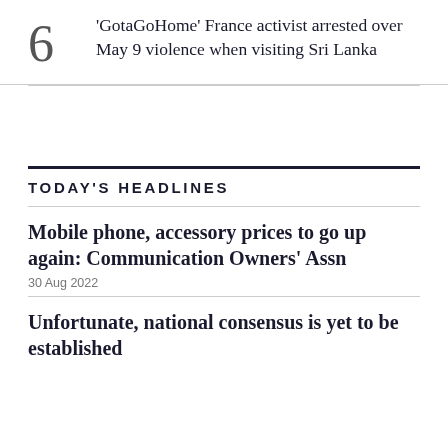6 'GotaGoHome' France activist arrested over May 9 violence when visiting Sri Lanka
TODAY'S HEADLINES
Mobile phone, accessory prices to go up again: Communication Owners' Assn
30 Aug 2022
Unfortunate, national consensus is yet to be established